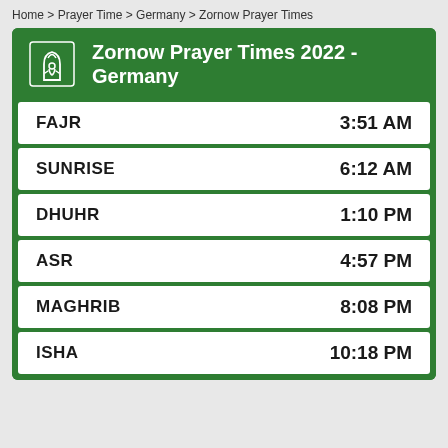Home > Prayer Time > Germany > Zornow Prayer Times
Zornow Prayer Times 2022 - Germany
| Prayer | Time |
| --- | --- |
| FAJR | 3:51 AM |
| SUNRISE | 6:12 AM |
| DHUHR | 1:10 PM |
| ASR | 4:57 PM |
| MAGHRIB | 8:08 PM |
| ISHA | 10:18 PM |